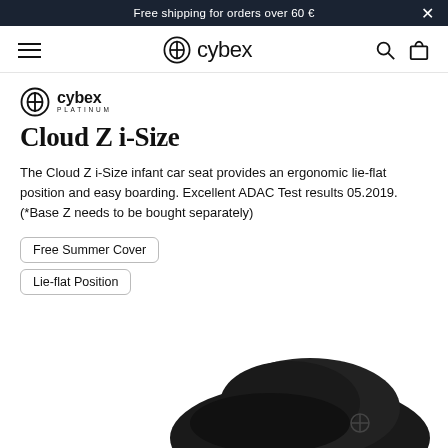Free shipping for orders over 60 €
[Figure (logo): Cybex brand navigation bar with hamburger menu, cybex logo, search and bag icons]
[Figure (logo): Cybex Platinum brand logo]
Cloud Z i-Size
The Cloud Z i-Size infant car seat provides an ergonomic lie-flat position and easy boarding. Excellent ADAC Test results 05.2019. (*Base Z needs to be bought separately)
Free Summer Cover
Lie-flat Position
[Figure (photo): Black Cybex Cloud Z i-Size infant car seat product image, partially cropped at bottom of page]